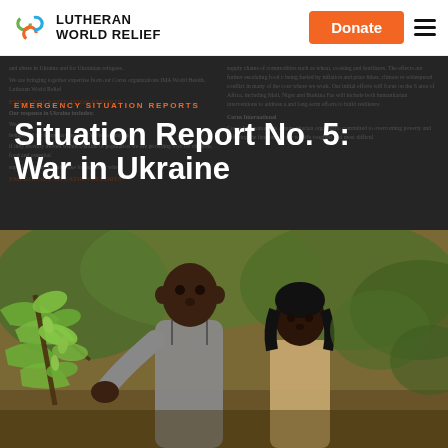Lutheran World Relief — Donate
Situation Report No. 5: War in Ukraine
EMERGENCY SITUATION REPORTS
[Figure (photo): Two people (a man and a woman) examining plants/leaves on a tree, in an outdoor agricultural or forested setting]